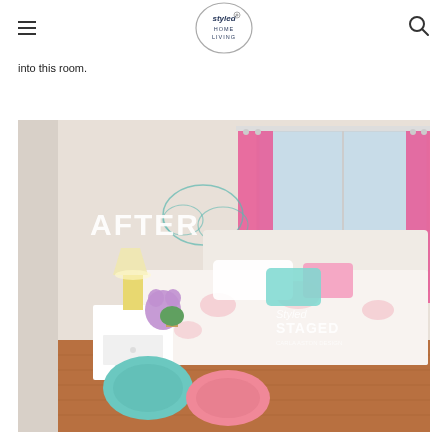Styled Home Living (logo)
into this room.
[Figure (photo): After photo of a staged girl's bedroom with pink curtains, floral bedding, a white nightstand with lamp and purple stuffed animal, teal wall decal, and two patterned rugs on hardwood floor. White text overlay reads 'AFTER'. Styled & Staged watermark visible.]